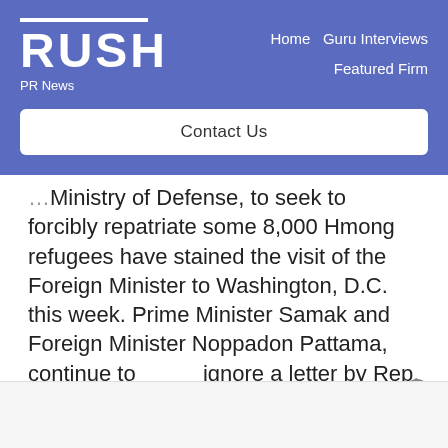RUSH PR News — Home | Guru Interviews | Featured Firm | Contact Us
Ministry of Defense, to seek to forcibly repatriate some 8,000 Hmong refugees have stained the visit of the Foreign Minister to Washington, D.C. this week. Prime Minister Samak and Foreign Minister Noppadon Pattama, continue to ignore a letter by Rep. Frank Wolf (R-